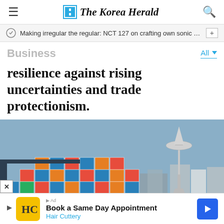The Korea Herald
Making irregular the regular: NCT 127 on crafting own sonic iden…
Business
resilience against rising uncertainties and trade protectionism.
[Figure (photo): Stacked shipping containers at a port with the Seattle Space Needle visible in the background against a grey-blue sky.]
Book a Same Day Appointment Hair Cuttery